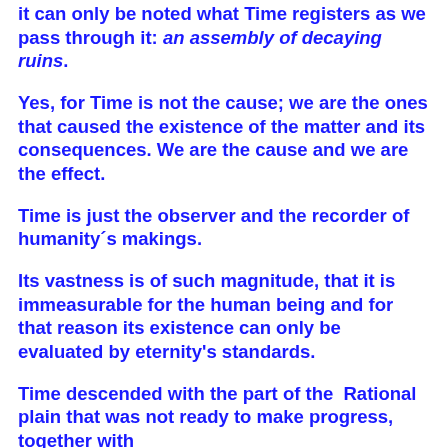it can only be noted what Time registers as we pass through it: an assembly of decaying ruins.
Yes, for Time is not the cause; we are the ones that caused the existence of the matter and its consequences. We are the cause and we are the effect.
Time is just the observer and the recorder of humanity´s makings.
Its vastness is of such magnitude, that it is immeasurable for the human being and for that reason its existence can only be evaluated by eternity's standards.
Time descended with the part of the Rational plain that was not ready to make progress, together with